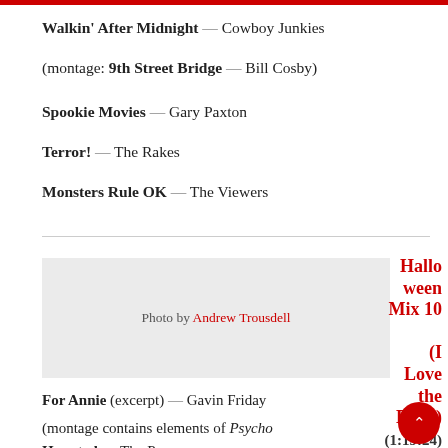Walkin' After Midnight — Cowboy Junkies
(montage: 9th Street Bridge — Bill Cosby)
Spookie Movies — Gary Paxton
Terror! — The Rakes
Monsters Rule OK — The Viewers
[Figure (photo): Photo placeholder with credit: Photo by Andrew Trousdell]
Photo by Andrew Trousdell
Halloween Mix 10 (I Love the Dead) (1:19:24)
For Annie (excerpt) — Gavin Friday
(montage contains elements of Psycho
Haunted — The Pogues